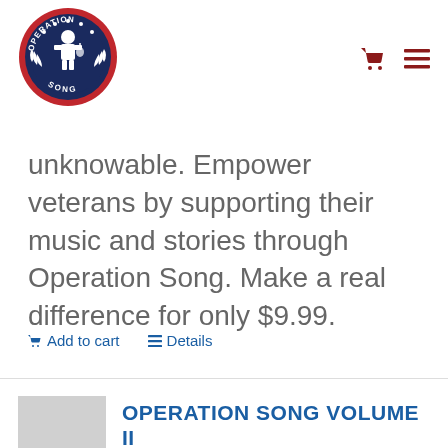[Figure (logo): Operation Song circular logo with red border, white text reading OPERATION SONG around the edge, soldier figure with guitar in center on dark blue background with stars]
unknowable. Empower veterans by supporting their music and stories through Operation Song. Make a real difference for only $9.99.
Add to cart   Details
OPERATION SONG VOLUME II